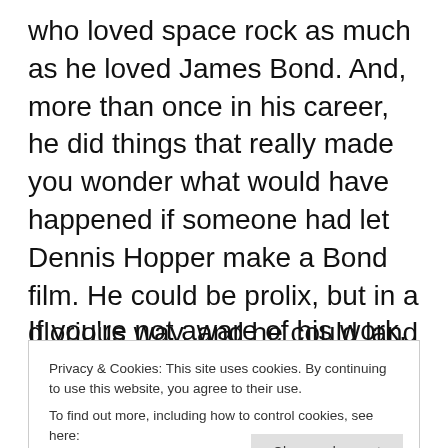who loved space rock as much as he loved James Bond. And, more than once in his career, he did things that really made you wonder what would have happened if someone had let Dennis Hopper make a Bond film. He could be prolix, but in a glorious way, and he could land a great short line right on a beat like very few others.
If you're not aware of his work, you
Privacy & Cookies: This site uses cookies. By continuing to use this website, you agree to their use.
To find out more, including how to control cookies, see here:
Cookie Policy
fun without people getting on his case